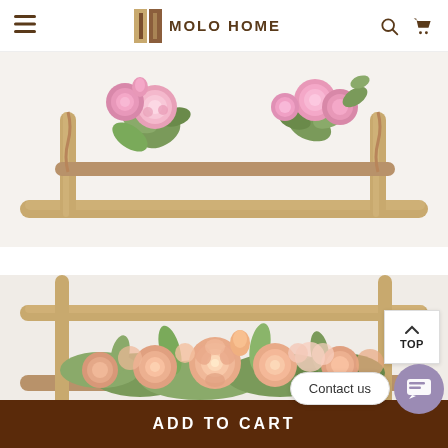MOLO HOME
[Figure (photo): Pink roses and greenery arranged in a rustic wooden branch frame/stand on a light background. Close-up product photo.]
[Figure (photo): Peach/salmon colored roses and mixed flowers arranged in a rustic wooden branch frame/stand. Product photo from slightly lower angle.]
Contact us
ADD TO CART